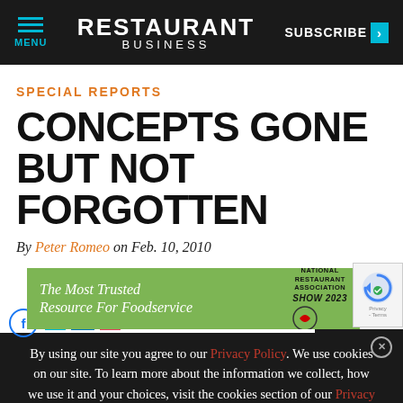MENU | RESTAURANT BUSINESS | SUBSCRIBE >
SPECIAL REPORTS
CONCEPTS GONE BUT NOT FORGOTTEN
By Peter Romeo on Feb. 10, 2010
[Figure (infographic): Advertisement banner: The Most Trusted Resource For Foodservice | National Restaurant Association Show 2023]
[Figure (infographic): reCAPTCHA verification widget with Privacy - Terms label]
By using our site you agree to our Privacy Policy. We use cookies on our site. To learn more about the information we collect, how we use it and your choices, visit the cookies section of our Privacy Policy.